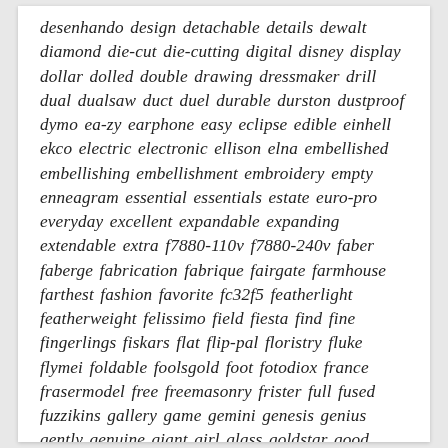desenhando design detachable details dewalt diamond die-cut die-cutting digital disney display dollar dolled double drawing dressmaker drill dual dualsaw duct duel durable durston dustproof dymo ea-zy earphone easy eclipse edible einhell ekco electric electronic ellison elna embellished embellishing embellishment embroidery empty enneagram essential essentials estate euro-pro everyday excellent expandable expanding extendable extra f7880-110v f7880-240v faber faberge fabrication fabrique fairgate farmhouse farthest fashion favorite fc32f5 featherlight featherweight felissimo field fiesta find fine fingerlings fiskars flat flip-pal floristry fluke flymei foldable foolsgold foot fotodiox france frasermodel free freemasonry frister full fused fuzzikins gallery game gemini genesis genius gently genuine giant girl glass goldstar good great green growlerwerks grown grumbacher gunbook hacks handmade hangsell hansa hard hatchimals hathaway heat heavy heavy-duty hello herschel high hilka hobby holbain home homest honest huge husky huskylock husquvarna husqvama husqvarna husqvarna-viking-quilt-designer idle ikea inch incredible indian inficon innovate innovations interchangeable introducing introduction iphone ipow iris isacord issue italia